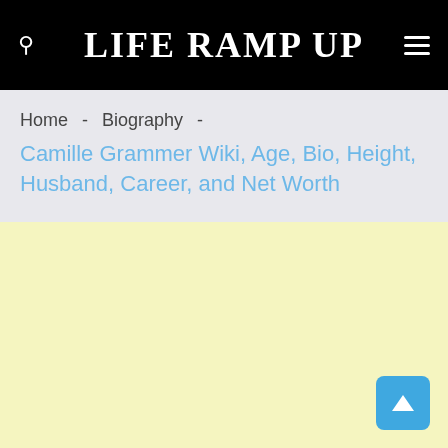LIFE RAMP UP
Home  -  Biography  -  Camille Grammer Wiki, Age, Bio, Height, Husband, Career, and Net Worth
[Figure (other): Advertisement banner area with light yellow background]